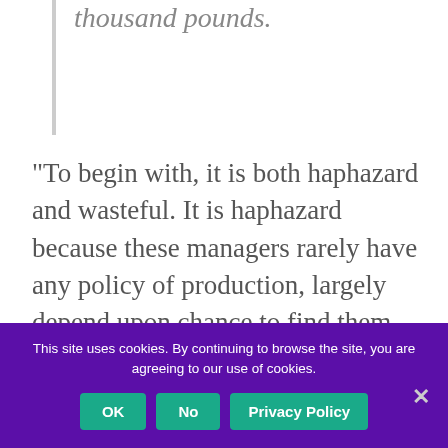thousand pounds.
“To begin with, it is both haphazard and wasteful. It is haphazard because these managers rarely have any policy of production, largely depend upon chance to find them new plays, do little or nothing to encourage promising young dramatists, take no part in training players and offer them no security when they are experienced. There is altogether too much
This site uses cookies. By continuing to browse the site, you are agreeing to our use of cookies.
OK
No
Privacy Policy